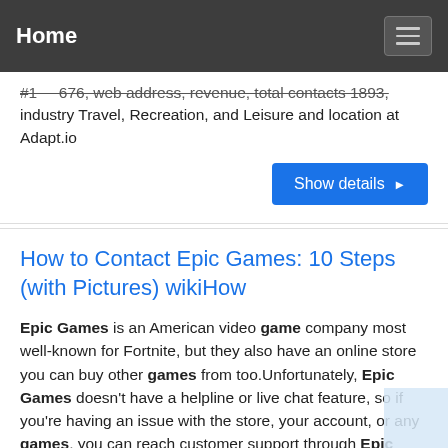Home
#1 … 676, web address, revenue, total contacts 1893, industry Travel, Recreation, and Leisure and location at Adapt.io
Show details ▶
How to Contact Epic Games: 10 Steps (with Pictures) wikiHow
Epic Games is an American video game company most well-known for Fortnite, but they also have an online store you can buy other games from too.Unfortunately, Epic Games doesn't have a helpline or live chat feature, so if you're having an issue with the store, your account, or any games, you can reach customer support through Epic Games' website.